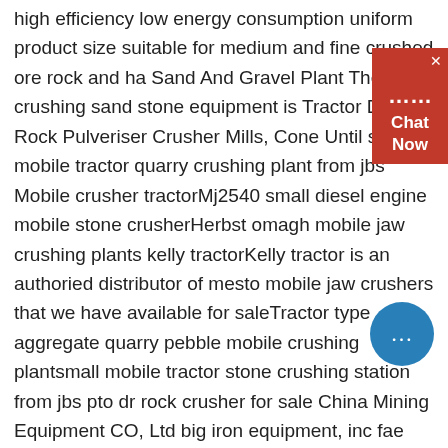high efficiency low energy consumption uniform product size suitable for medium and fine crushed ore rock and ha Sand And Gravel Plant The crushing sand stone equipment is Tractor Drawn Rock Pulveriser Crusher Mills, Cone Until small mobile tractor quarry crushing plant from jbs Mobile crusher tractorMj2540 small diesel engine mobile stone crusherHerbst omagh mobile jaw crushing plants kelly tractorKelly tractor is an authoried distributor of mesto mobile jaw crushers that we have available for saleTractor type aggregate quarry pebble mobile crushing plantsmall mobile tractor stone crushing station from jbs pto dr rock crusher for sale China Mining Equipment CO, Ltd big iron equipment, inc fae usa pto / tractor stch/r [download brochure] stone crushers for road construction for tractors between 180 and 300 hp with a max there are 848 listings in this category file update sun, feb 23, 2014 01 22
[Figure (other): Red chat widget with close button (x) and 'Chat Now' label, and a blue circular chat bubble button with ellipsis icon]